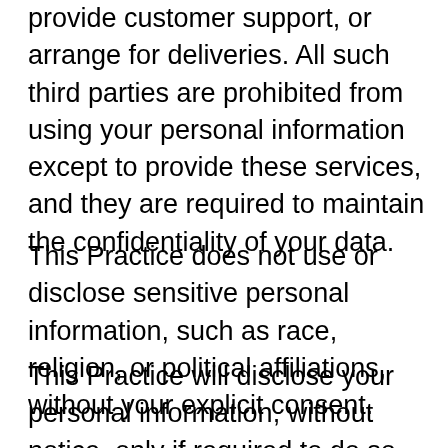provide customer support, or arrange for deliveries. All such third parties are prohibited from using your personal information except to provide these services, and they are required to maintain the confidentiality of your data.
This Practice does not use or disclose sensitive personal information, such as race, religion, or political affiliations, without your explicit consent.
This Practice will disclose your personal information, without notice, only if required to do so by law.